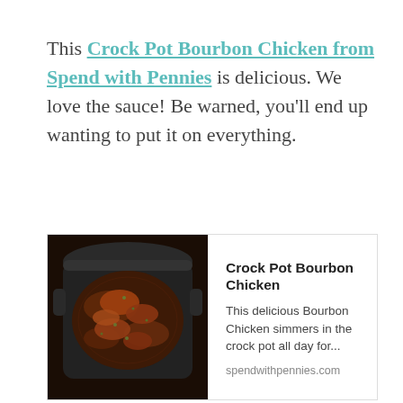This Crock Pot Bourbon Chicken from Spend with Pennies is delicious. We love the sauce! Be warned, you'll end up wanting to put it on everything.
[Figure (other): Link preview card showing Crock Pot Bourbon Chicken from spendwithpennies.com, with a photo of bourbon chicken in a crock pot on the left, and title, description, and URL on the right.]